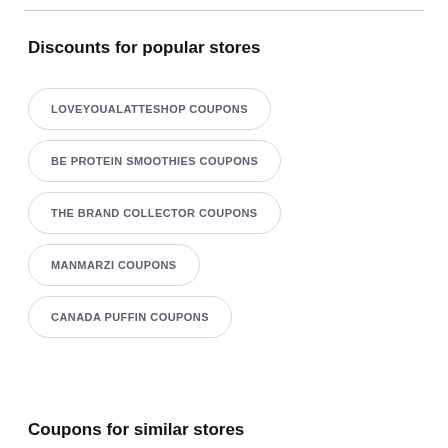Discounts for popular stores
LOVEYOUALATTESHOP COUPONS
BE PROTEIN SMOOTHIES COUPONS
THE BRAND COLLECTOR COUPONS
MANMARZI COUPONS
CANADA PUFFIN COUPONS
Coupons for similar stores